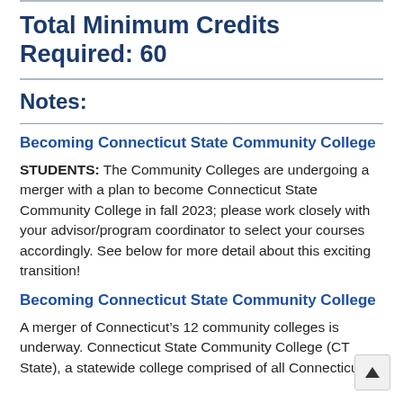Total Minimum Credits Required: 60
Notes:
Becoming Connecticut State Community College
STUDENTS: The Community Colleges are undergoing a merger with a plan to become Connecticut State Community College in fall 2023; please work closely with your advisor/program coordinator to select your courses accordingly. See below for more detail about this exciting transition!
Becoming Connecticut State Community College
A merger of Connecticut’s 12 community colleges is underway. Connecticut State Community College (CT State), a statewide college comprised of all Connecticut’s